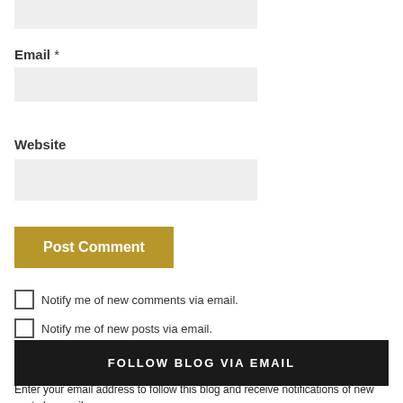Email *
Website
Post Comment
Notify me of new comments via email.
Notify me of new posts via email.
FOLLOW BLOG VIA EMAIL
Enter your email address to follow this blog and receive notifications of new posts by email.